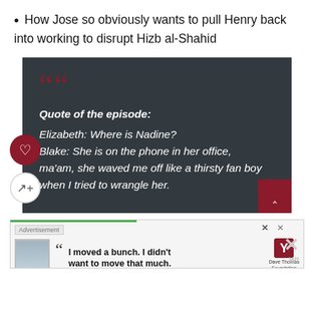How Jose so obviously wants to pull Henry back into working to disrupt Hizb al-Shahid
[Figure (other): Dark grey quote box with large red opening quotation marks, containing bold italic 'Quote of the episode:' followed by italic dialogue: 'Elizabeth: Where is Nadine? Blake: She is on the phone in her office, ma'am, she waved me off like a thirsty fan boy when I tried to wrangle her.' Heart button and share button on left side, up-arrow button in bottom right corner.]
[Figure (screenshot): Advertisement banner: 'Advertisement' label with X close button, photo of young person, large opening quotation marks, bold text 'I moved a bunch. I didn't want to move that much.', Dave Thomas Foundation for Adoption logo.]